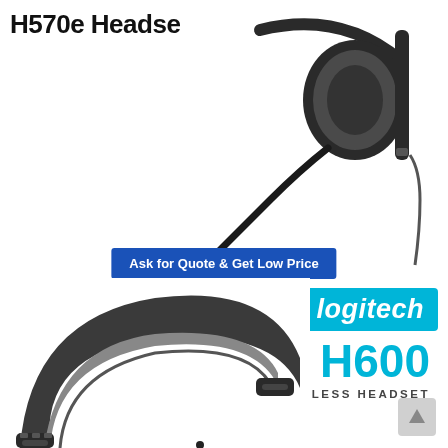H570e Headset Stereo
[Figure (photo): Logitech H570e stereo headset showing ear cup and microphone boom arm, product photo on white background]
Ask for Quote & Get Low Price
[Figure (logo): Logitech brand logo in white italic text on cyan/blue background with circle icon]
H600
WIRELESS HEADSET
[Figure (photo): Logitech H600 wireless headset headband shown in close-up on white background, dark gray color]
[Figure (other): Up arrow navigation button, light gray square with white arrow]